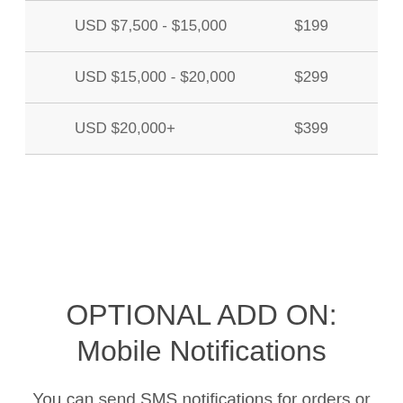| USD $7,500 - $15,000 | $199 |
| USD $15,000 - $20,000 | $299 |
| USD $20,000+ | $399 |
OPTIONAL ADD ON: Mobile Notifications
You can send SMS notifications for orders or abandoned carts (in addition to your base Recapture plan). Pricing is